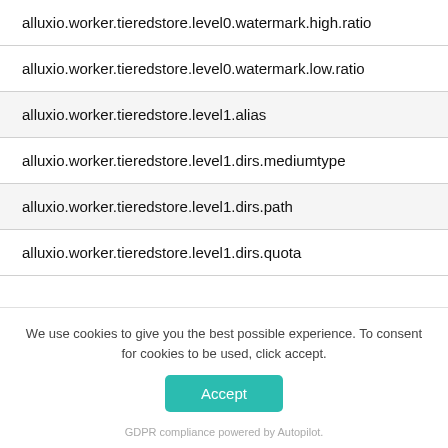alluxio.worker.tieredstore.level0.watermark.high.ratio
alluxio.worker.tieredstore.level0.watermark.low.ratio
alluxio.worker.tieredstore.level1.alias
alluxio.worker.tieredstore.level1.dirs.mediumtype
alluxio.worker.tieredstore.level1.dirs.path
alluxio.worker.tieredstore.level1.dirs.quota
We use cookies to give you the best possible experience. To consent for cookies to be used, click accept.
Accept
GDPR compliance powered by Autopilot.